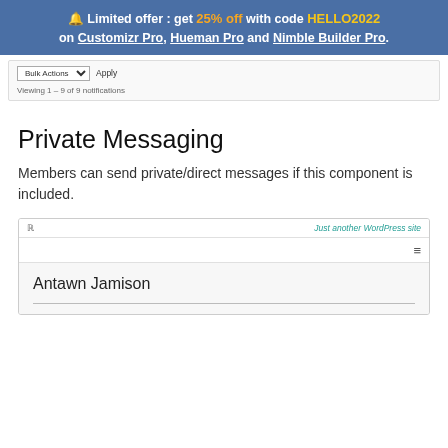🔔 Limited offer : get 25% off with code HELLO2022 on Customizr Pro, Hueman Pro and Nimble Builder Pro.
[Figure (screenshot): WordPress admin notification panel screenshot showing Bulk Actions dropdown and 'Viewing 1-9 of 9 notifications' text]
Private Messaging
Members can send private/direct messages if this component is included.
[Figure (screenshot): WordPress site screenshot showing RSS icon, 'Just another WordPress site' link, hamburger menu, and user profile for Antawn Jamison]